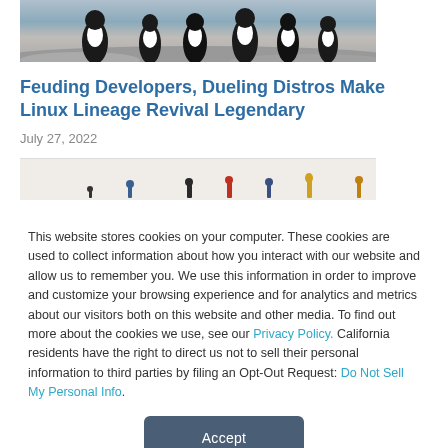[Figure (photo): Penguins standing on rocky/icy ground, partially cropped at top, showing lower bodies and feet]
Feuding Developers, Dueling Distros Make Linux Lineage Revival Legendary
July 27, 2022
[Figure (photo): Partially visible image with small figures/figurines on a light beige background]
This website stores cookies on your computer. These cookies are used to collect information about how you interact with our website and allow us to remember you. We use this information in order to improve and customize your browsing experience and for analytics and metrics about our visitors both on this website and other media. To find out more about the cookies we use, see our Privacy Policy. California residents have the right to direct us not to sell their personal information to third parties by filing an Opt-Out Request: Do Not Sell My Personal Info.
Accept